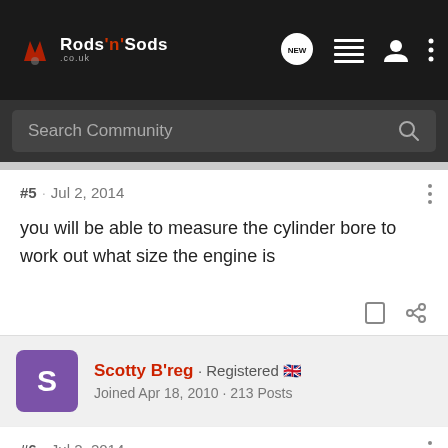Rods 'n' Sods · NEW · Search Community
#5 · Jul 2, 2014
you will be able to measure the cylinder bore to work out what size the engine is
Scotty B'reg · Registered · Joined Apr 18, 2010 · 213 Posts
#6 · Jul 2, 2014